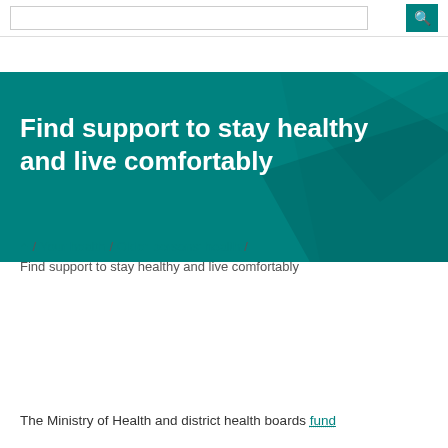[Figure (screenshot): Search bar with teal search button at top of webpage]
Find support to stay healthy and live comfortably
/ Your health / Older persons' health / Find support to stay healthy and live comfortably
In this section
The Ministry of Health and district health boards fund